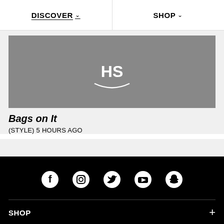DISCOVER ∨   SHOP ∨
[Figure (logo): HS logo in white on gray background, circular arc below text]
Bags on It
(STYLE) 5 HOURS AGO
[Figure (infographic): Social media icons row: Facebook, Instagram, Twitter, YouTube, Snapchat on black background]
SHOP +